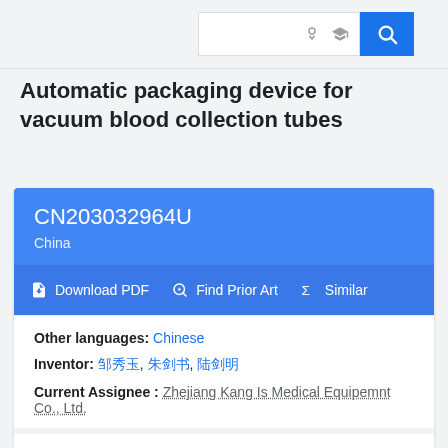Search bar with light bulb icon, graduation cap icon, and search button
Automatic packaging device for vacuum blood collection tubes
CN203032964U
China
Download PDF  Find Prior Art  Similar
Other languages: Chinese
Inventor: 邹秀玉, 朱剑书, 陆剑明
Current Assignee: Zhejiang Kang Is Medical Equipemnt Co., Ltd.
Worldwide applications
2013 · CN